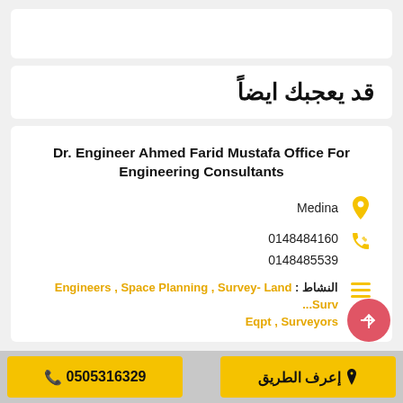قد يعجبك ايضاً
Dr. Engineer Ahmed Farid Mustafa Office For Engineering Consultants
Medina
0148484160
0148485539
النشاط : Engineers , Space Planning , Survey- Land Survey Eqpt , Surveyors
0505316329
إعرف الطريق